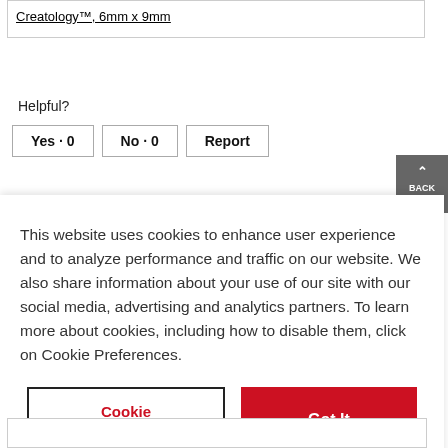Creatology™, 6mm x 9mm
Helpful?
Yes · 0   No · 0   Report
This website uses cookies to enhance user experience and to analyze performance and traffic on our website. We also share information about your use of our site with our social media, advertising and analytics partners. To learn more about cookies, including how to disable them, click on Cookie Preferences.
Cookie Preferences
Got It